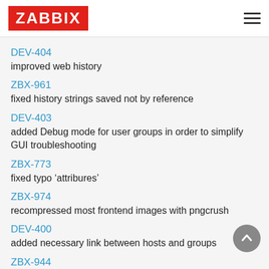ZABBIX
DEV-404
improved web history
ZBX-961
fixed history strings saved not by reference
DEV-403
added Debug mode for user groups in order to simplify GUI troubleshooting
ZBX-773
fixed typo 'attribures'
ZBX-974
recompressed most frontend images with pngcrush
DEV-400
added necessary link between hosts and groups
ZBX-944